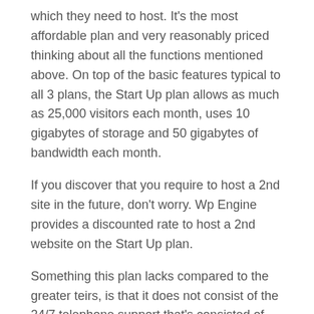which they need to host. It's the most affordable plan and very reasonably priced thinking about all the functions mentioned above. On top of the basic features typical to all 3 plans, the Start Up plan allows as much as 25,000 visitors each month, uses 10 gigabytes of storage and 50 gigabytes of bandwidth each month.
If you discover that you require to host a 2nd site in the future, don't worry. Wp Engine provides a discounted rate to host a 2nd website on the Start Up plan.
Something this plan lacks compared to the greater teirs, is that it does not consist of the 24/7 telephone support that's consisted of with the other two plans.
Over all this plan is an incredible worth for those whos needs fit within its restrictions.
Growtl